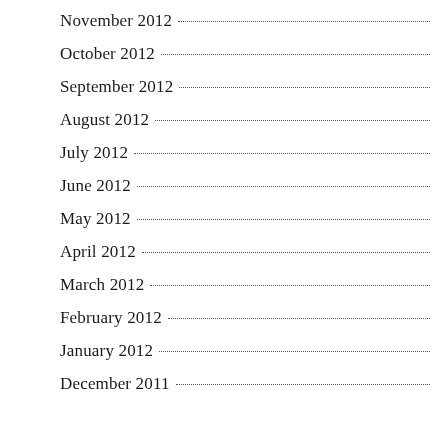November 2012
October 2012
September 2012
August 2012
July 2012
June 2012
May 2012
April 2012
March 2012
February 2012
January 2012
December 2011